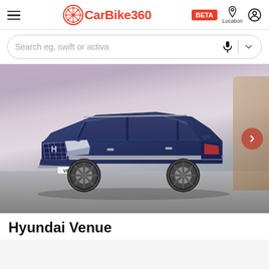CarBike360 BETA Location
Search eg, swift or activa
[Figure (photo): Hyundai Venue SUV in dark blue color parked on a paved surface with a dramatic cloudy sky background. A red next-arrow button is visible on the right side. The car's license plate area shows 'VENUE'.]
Hyundai Venue